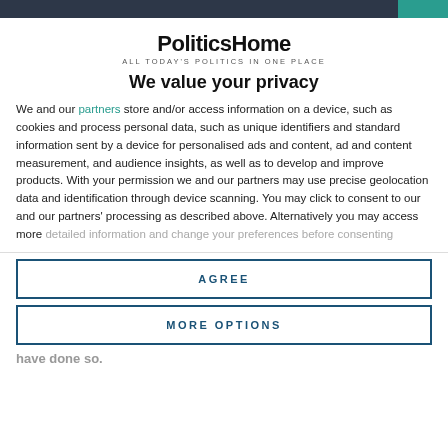[Figure (logo): PoliticsHome logo with tagline ALL TODAY'S POLITICS IN ONE PLACE]
We value your privacy
We and our partners store and/or access information on a device, such as cookies and process personal data, such as unique identifiers and standard information sent by a device for personalised ads and content, ad and content measurement, and audience insights, as well as to develop and improve products. With your permission we and our partners may use precise geolocation data and identification through device scanning. You may click to consent to our and our partners' processing as described above. Alternatively you may access more detailed information and change your preferences before consenting
AGREE
MORE OPTIONS
have done so.